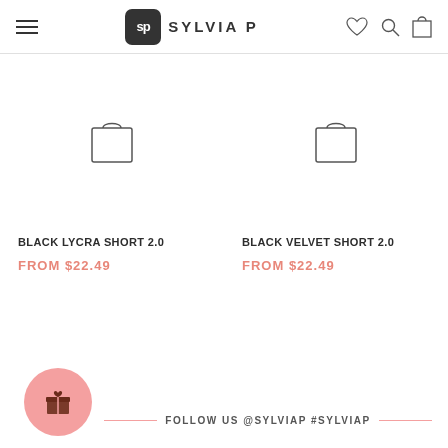Sylvia P — Navigation header with logo, hamburger menu, heart, search, and cart icons
[Figure (other): Shopping bag icon placeholder for Black Lycra Short 2.0 product]
BLACK LYCRA SHORT 2.0
FROM $22.49
[Figure (other): Shopping bag icon placeholder for Black Velvet Short 2.0 product]
BLACK VELVET SHORT 2.0
FROM $22.49
FOLLOW US @SYLVIAP #SYLVIAP